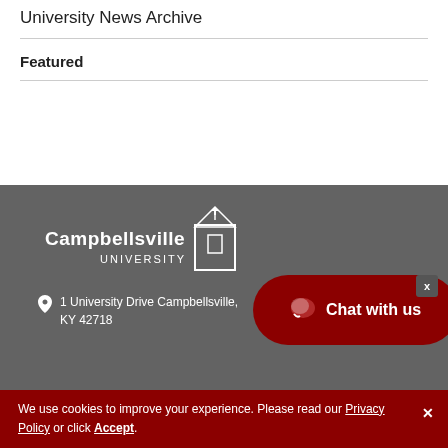University News Archive
Featured
[Figure (logo): Campbellsville University logo in white on dark gray background]
1 University Drive Campbellsville, KY 42718
Chat with us
We use cookies to improve your experience. Please read our Privacy Policy or click Accept.